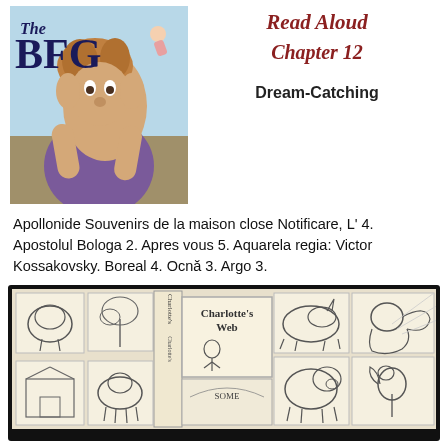[Figure (illustration): Book cover of 'The BFG' showing illustrated characters including a large giant figure with wild hair and a small girl, with colorful watercolor-style illustration]
[Figure (illustration): Read Aloud text header with 'Chapter 12' and 'Dream-Catching' subtitle in red/maroon italic and bold text on white background]
Apollonide Souvenirs de la maison close Notificare, L' 4. Apostolul Bologa 2. Apres vous 5. Aquarela regia: Victor Kossakovsky. Boreal 4. Ocnă 3. Argo 3.
[Figure (illustration): Black-framed display showing sketches and illustrations related to Charlotte's Web book, including pencil drawings of animals and characters arranged in a collage, with Charlotte's Web book cover visible in center]